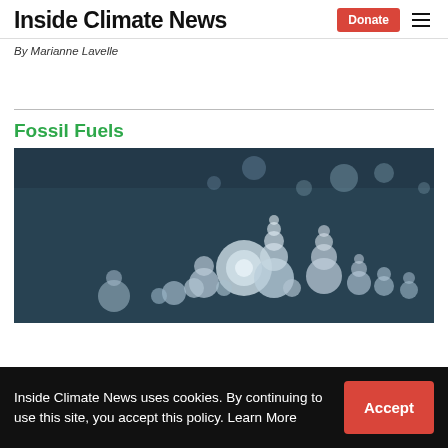Inside Climate News
By Marianne Lavelle
Fossil Fuels
[Figure (photo): Close-up photograph of methane bubbles frozen in ice, showing circular ice formations of various sizes clustered together, shot in teal/dark blue tones.]
Inside Climate News uses cookies. By continuing to use this site, you accept this policy. Learn More